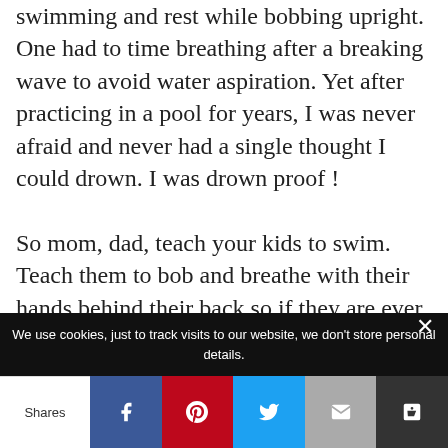swimming and rest while bobbing upright. One had to time breathing after a breaking wave to avoid water aspiration. Yet after practicing in a pool for years, I was never afraid and never had a single thought I could drown. I was drown proof ! So mom, dad, teach your kids to swim. Teach them to bob and breathe with their hands behind their back so if they are ever in danger they will never panic, they will be drown proof ! As we approach Fathers day and have
We use cookies, just to track visits to our website, we don't store personal details.
Shares | Facebook | Pinterest | Twitter | Email | Other